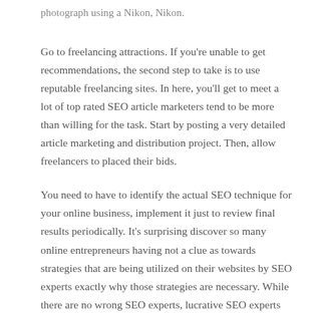photograph using a Nikon, Nikon.
Go to freelancing attractions. If you're unable to get recommendations, the second step to take is to use reputable freelancing sites. In here, you'll get to meet a lot of top rated SEO article marketers tend to be more than willing for the task. Start by posting a very detailed article marketing and distribution project. Then, allow freelancers to placed their bids.
You need to have to identify the actual SEO technique for your online business, implement it just to review final results periodically. It's surprising discover so many online entrepreneurs having not a clue as towards strategies that are being utilized on their websites by SEO experts exactly why those strategies are necessary. While there are no wrong SEO experts, lucrative SEO experts applying improper seo services for small business steps.
I am afraid I will waste my money. A person you replace this